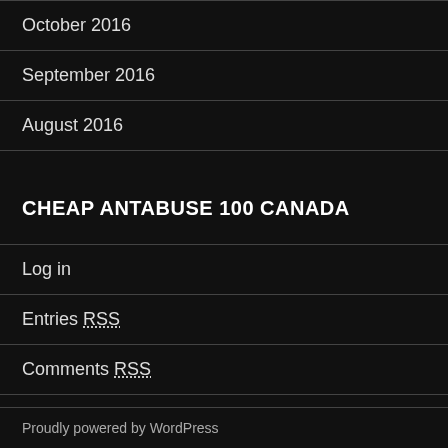October 2016
September 2016
August 2016
CHEAP ANTABUSE 100 CANADA
Log in
Entries RSS
Comments RSS
WordPress.org
Proudly powered by WordPress